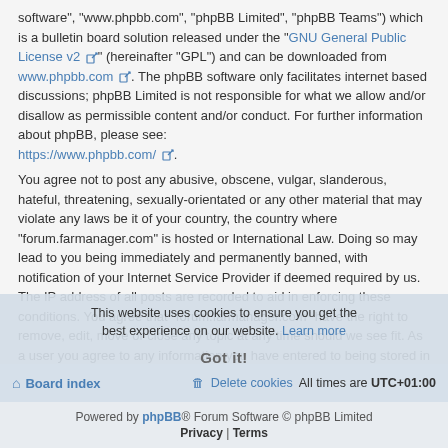software", "www.phpbb.com", "phpBB Limited", "phpBB Teams") which is a bulletin board solution released under the "GNU General Public License v2" (hereinafter "GPL") and can be downloaded from www.phpbb.com. The phpBB software only facilitates internet based discussions; phpBB Limited is not responsible for what we allow and/or disallow as permissible content and/or conduct. For further information about phpBB, please see: https://www.phpbb.com/.
You agree not to post any abusive, obscene, vulgar, slanderous, hateful, threatening, sexually-orientated or any other material that may violate any laws be it of your country, the country where “forum.farmanager.com” is hosted or International Law. Doing so may lead to you being immediately and permanently banned, with notification of your Internet Service Provider if deemed required by us. The IP address of all posts are recorded to aid in enforcing these conditions. You agree that “forum.farmanager.com” have the right to remove, edit, move or close any topic at any time should we see fit. As a user you agree to any information you have entered to being stored in a database. While this information will not be disclosed to any third party without your consent, neither “forum.farmanager.com” nor phpBB shall be held responsible for any hacking attempt that may lead to the data being compromised.
This website uses cookies to ensure you get the best experience on our website. Learn more
Got it!
Board index | Delete cookies  All times are UTC+01:00
Powered by phpBB® Forum Software © phpBB Limited
Privacy | Terms